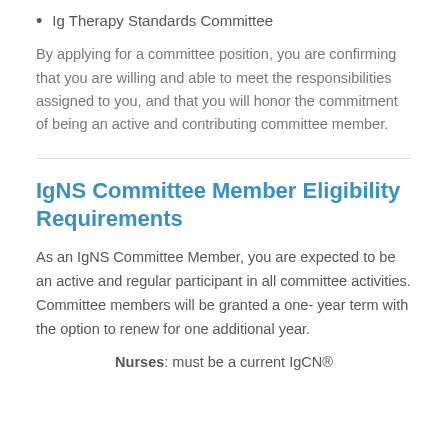Ig Therapy Standards Committee
By applying for a committee position, you are confirming that you are willing and able to meet the responsibilities assigned to you, and that you will honor the commitment of being an active and contributing committee member.
IgNS Committee Member Eligibility Requirements
As an IgNS Committee Member, you are expected to be an active and regular participant in all committee activities. Committee members will be granted a one- year term with the option to renew for one additional year.
Nurses: must be a current IgCN®